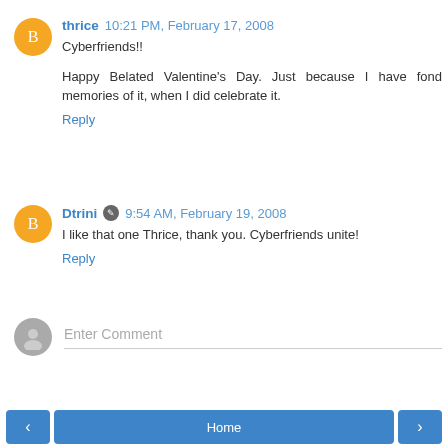thrice  10:21 PM, February 17, 2008
Cyberfriends!!
Happy Belated Valentine's Day. Just because I have fond memories of it, when I did celebrate it.
Reply
Dtrini  9:54 AM, February 19, 2008
I like that one Thrice, thank you. Cyberfriends unite!
Reply
Enter Comment
‹  Home  ›